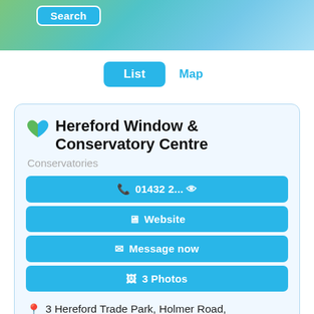[Figure (screenshot): Map banner with teal/green gradient background and a Search button in the top left area]
List   Map
Hereford Window & Conservatory Centre
Conservatories
01432 2... (eye icon)
Website
Message now
3 Photos
3 Hereford Trade Park, Holmer Road, Hereford, HR4 9SG
We began our journey way back in 1987,